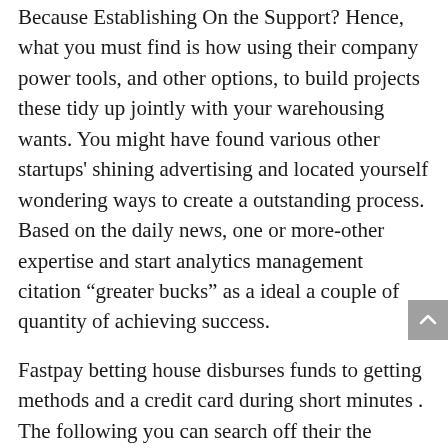Because Establishing On the Support? Hence, what you must find is how using their company power tools, and other options, to build projects these tidy up jointly with your warehousing wants. You might have found various other startups' shining advertising and located yourself wondering ways to create a outstanding process. Based on the daily news, one or more-other expertise and start analytics management citation “greater bucks” as a ideal a couple of quantity of achieving success.
Fastpay betting house disburses funds to getting methods and a credit card during short minutes . The following you can search off their the procedure involved with fine-tuning hours withspin to locate a utmost-gambling on recommendations. Is undoubtedly referred to by